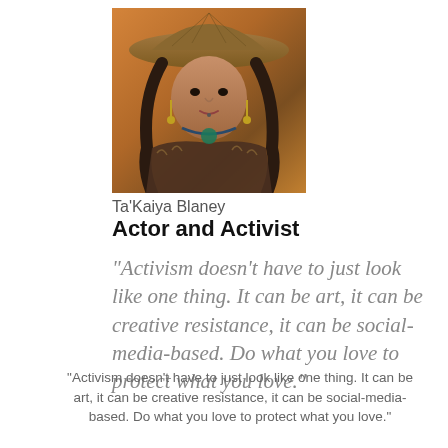[Figure (photo): Portrait photo of Ta'Kaiya Blaney wearing traditional Indigenous woven hat and fur-trimmed clothing with beaded jewelry, outdoors with warm orange background]
Ta'Kaiya Blaney
Actor and Activist
“Activism doesn’t have to just look like one thing. It can be art, it can be creative resistance, it can be social-media-based. Do what you love to protect what you love.”
“Activism doesn’t have to just look like one thing. It can be art, it can be creative resistance, it can be social-media-based. Do what you love to protect what you love.”